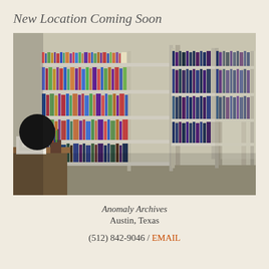New Location Coming Soon
[Figure (photo): Interior photograph of a library or archive with tall metal bookshelves packed with books, a desk with papers and pens in the foreground lower left.]
Anomaly Archives
Austin, Texas

(512) 842-9046 / EMAIL